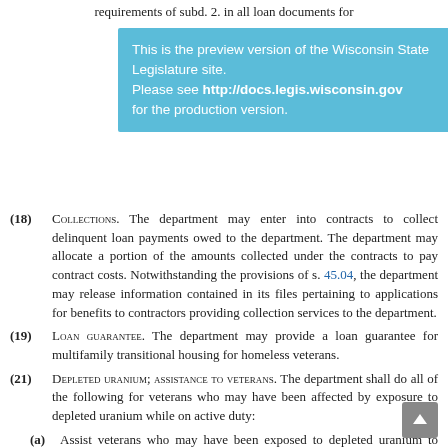requirements of subd. 2. in all loan documents for
[Figure (other): Preview banner overlay: 'This is the preview version of the Wisconsin State Legislature site. Please see http://docs.legis.wisconsin.gov for the production version.']
(18) COLLECTIONS. The department may enter into contracts to collect delinquent loan payments owed to the department. The department may allocate a portion of the amounts collected under the contracts to pay contract costs. Notwithstanding the provisions of s. 45.04, the department may release information contained in its files pertaining to applications for benefits to contractors providing collection services to the department.
(19) LOAN GUARANTEE. The department may provide a loan guarantee for multifamily transitional housing for homeless veterans.
(21) DEPLETED URANIUM; ASSISTANCE TO VETERANS. The department shall do all of the following for veterans who may have been affected by exposure to depleted uranium while on active duty:
(a) Assist veterans who may have been exposed to depleted uranium to obtain the best practice health screening test from the federal department of veterans affairs to test for exposure to depleted uranium using a bioassay procedure involving methods sufficiently sensitive to detect deplet